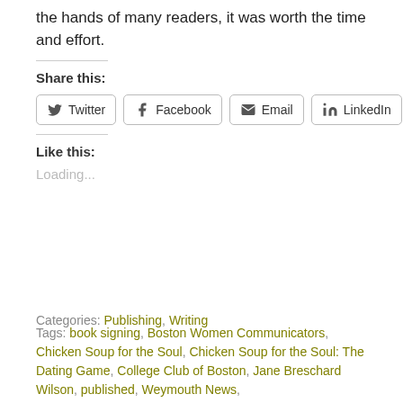the hands of many readers, it was worth the time and effort.
Share this:
Twitter  Facebook  Email  LinkedIn
Like this:
Loading...
Categories: Publishing, Writing
Tags: book signing, Boston Women Communicators, Chicken Soup for the Soul, Chicken Soup for the Soul: The Dating Game, College Club of Boston, Jane Breschard Wilson, published, Weymouth News,